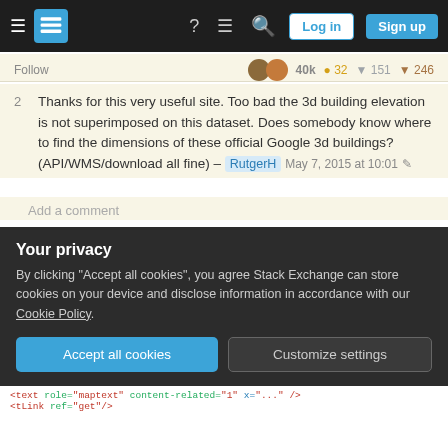Stack Exchange navigation bar with Log in and Sign up buttons
Follow  40K  32  151  246
2  Thanks for this very useful site. Too bad the 3d building elevation is not superimposed on this dataset. Does somebody know where to find the dimensions of these official Google 3d buildings? (API/WMS/download all fine) – RutgerH  May 7, 2015 at 10:01
Add a comment
Another source for google may be Zonum. Here you can generate points with elevation data and then
Your privacy
By clicking "Accept all cookies", you agree Stack Exchange can store cookies on your device and disclose information in accordance with our Cookie Policy.
Accept all cookies
Customize settings
<text ... />